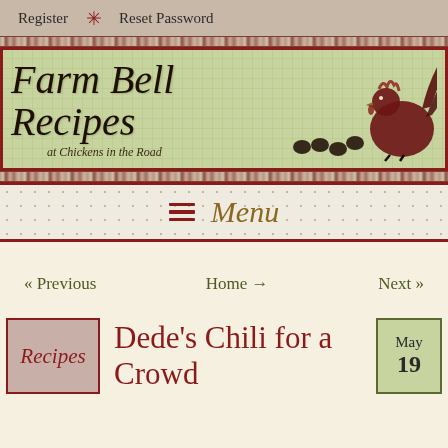Register  ❊  Reset Password
[Figure (illustration): Farm Bell Recipes logo banner with chicken silhouette and chicks on green linen background, subtitle: at Chickens in the Road]
≡  Menu
« Previous    Home →    Next »
Dede's Chili for a Crowd
Recipes
May 19